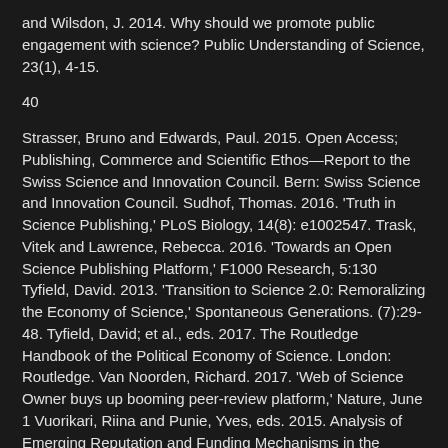and Wilsdon, J. 2014. Why should we promote public engagement with science? Public Understanding of Science, 23(1), 4-15.
40
Strasser, Bruno and Edwards, Paul. 2015. Open Access; Publishing, Commerce and Scientific Ethos—Report to the Swiss Science and Innovation Council. Bern: Swiss Science and Innovation Council. Sudhof, Thomas. 2016. 'Truth in Science Publishing,' PLoS Biology, 14(8): e1002547. Trask, Vitek and Lawrence, Rebecca. 2016. 'Towards an Open Science Publishing Platform,' F1000 Research, 5:130 Tyfield, David. 2013. 'Transition to Science 2.0: Remoralizing the Economy of Science,' Spontaneous Generations. (7):29-48. Tyfield, David; et al., eds. 2017. The Routledge Handbook of the Political Economy of Science. London: Routledge. Van Noorden, Richard. 2017. 'Web of Science Owner buys up booming peer-review platform,' Nature, June 1 Vuorikari, Riina and Punie, Yves, eds. 2015. Analysis of Emerging Reputation and Funding Mechanisms in the Context of Open Science 2.0. Luxembourg: European U... Walz, Steffen and Deterding, Sebastien. 2015. The Gameful... Cambridge: MIT Press. Westbrook, Richard. 1991. John De... American Democracy, Ithaca: Cornell University Press. Wi...